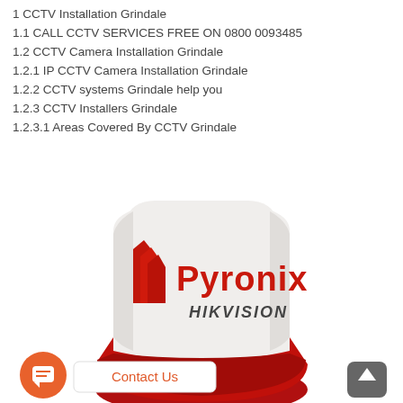1 CCTV Installation Grindale
1.1 CALL CCTV SERVICES FREE ON 0800 0093485
1.2 CCTV Camera Installation Grindale
1.2.1 IP CCTV Camera Installation Grindale
1.2.2 CCTV systems Grindale help you
1.2.3 CCTV Installers Grindale
1.2.3.1 Areas Covered By CCTV Grindale
[Figure (photo): Pyronix Hikvision branded alarm siren bell box, white plastic housing with red bottom section, displayed on white background. UI overlay elements include an orange chat button, a 'Contact Us' bubble, and a grey scroll-to-top button.]